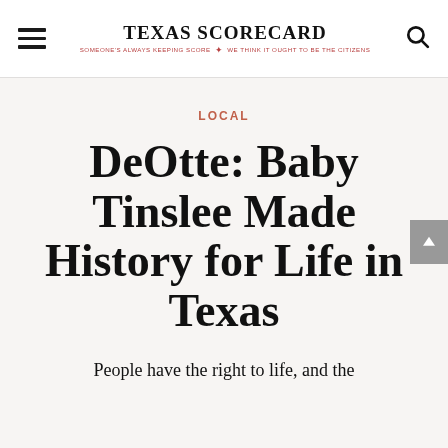TEXAS SCORECARD — SOMEONE'S ALWAYS KEEPING SCORE — WE THINK IT OUGHT TO BE THE CITIZENS
LOCAL
DeOtte: Baby Tinslee Made History for Life in Texas
People have the right to life, and the